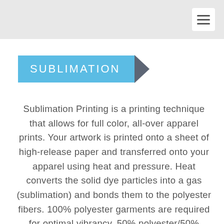SUBLIMATION
Sublimation Printing is a printing technique that allows for full color, all-over apparel prints. Your artwork is printed onto a sheet of high-release paper and transferred onto your apparel using heat and pressure. Heat converts the solid dye particles into a gas (sublimation) and bonds them to the polyester fibers. 100% polyester garments are required for optimal vibrancy. 50% polyester/50% cotton blends are good for achieving a vintage/worn effect. This